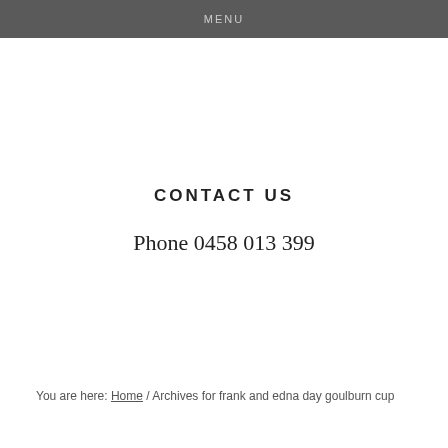MENU
CONTACT US
Phone 0458 013 399
You are here: Home / Archives for frank and edna day goulburn cup